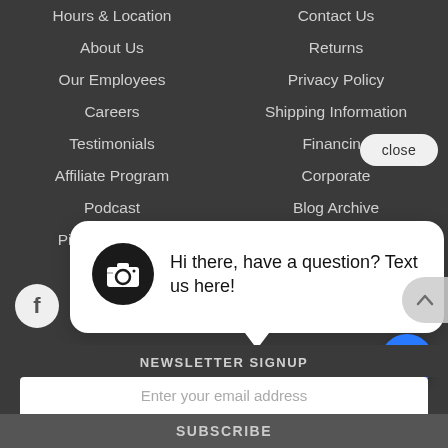Hours & Location
Contact Us
About Us
Returns
Our Employees
Privacy Policy
Careers
Shipping Information
Testimonials
Financing
Affiliate Program
Corporate
Podcast
Blog Archive
Pictureline Pros
Contests
[Figure (screenshot): Chat popup bubble with camera icon and text: Hi there, have a question? Text us here!]
close
NEWSLETTER SIGNUP
Enter your email address
SUBSCRIBE